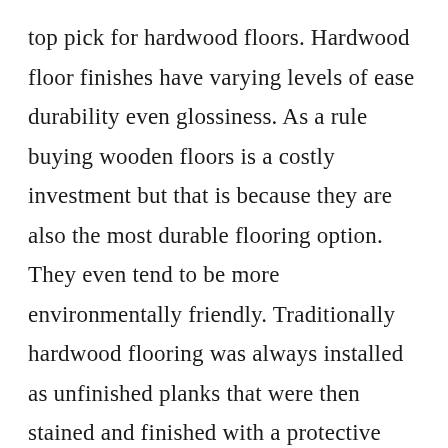top pick for hardwood floors. Hardwood floor finishes have varying levels of ease durability even glossiness. As a rule buying wooden floors is a costly investment but that is because they are also the most durable flooring option. They even tend to be more environmentally friendly. Traditionally hardwood flooring was always installed as unfinished planks that were then stained and finished with a protective surface layer right on the worksite.